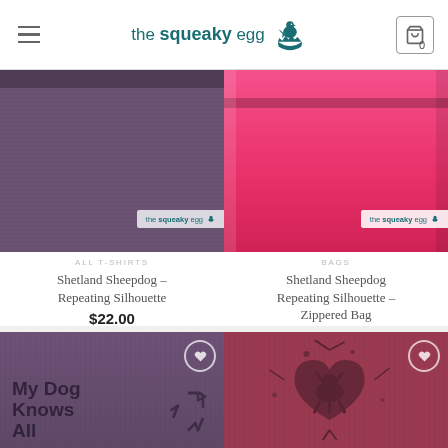[Figure (screenshot): Website header for 'the squeaky egg' with hamburger menu, teal bird logo, and shopping cart icon showing 0]
[Figure (photo): Purple t-shirt with 'the squeaky egg' brand tag visible at bottom right]
ALL T-SHIRTS
Shetland Sheepdog – Repeating Silhouette
$22.00
[Figure (photo): Pink/hot pink zippered bag with 'the squeaky egg' brand tag]
BAGS
Shetland Sheepdog Repeating Silhouette – Zippered Bag
$20.00
[Figure (photo): Purple t-shirt with 'My Dog Knows All' text and recycling arrows graphic]
[Figure (photo): Dark red/maroon t-shirt with heart and dog silhouette splatter design]